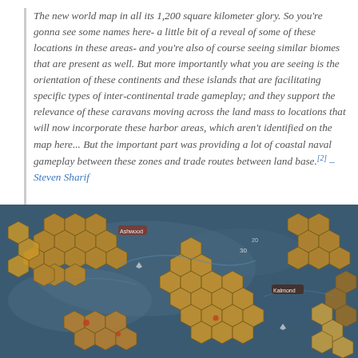The new world map in all its 1,200 square kilometer glory. So you're gonna see some names here- a little bit of a reveal of some of these locations in these areas- and you're also of course seeing similar biomes that are present as well. But more importantly what you are seeing is the orientation of these continents and these islands that are facilitating specific types of inter-continental trade gameplay; and they support the relevance of these caravans moving across the land mass to locations that will now incorporate these harbor areas, which aren't identified on the map here... But the important part was providing a lot of coastal naval gameplay between these zones and trade routes between land base.[2] – Steven Sharif
[Figure (photo): A hex-grid world map showing continents and islands rendered as hexagonal tiles in brown/gold tones on a blue ocean background, resembling a tabletop game map.]